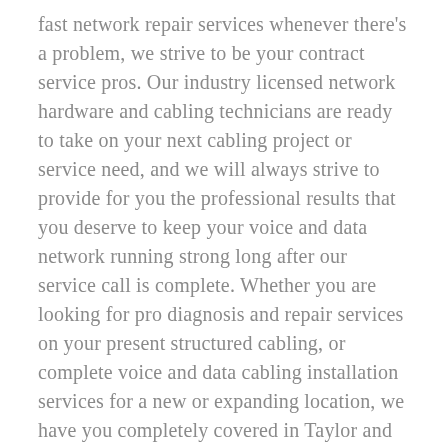fast network repair services whenever there's a problem, we strive to be your contract service pros. Our industry licensed network hardware and cabling technicians are ready to take on your next cabling project or service need, and we will always strive to provide for you the professional results that you deserve to keep your voice and data network running strong long after our service call is complete. Whether you are looking for pro diagnosis and repair services on your present structured cabling, or complete voice and data cabling installation services for a new or expanding location, we have you completely covered in Taylor and throughout the entire state of Texas. Take a minute to give us a call today and let us show you why so many Taylor businesses depend on our pro high speed voice and data network structured cabling onsite services when they require a dependable, honest pro structured cabling service provider to keep their computer PC and telephones up and running (859) 780-3061.